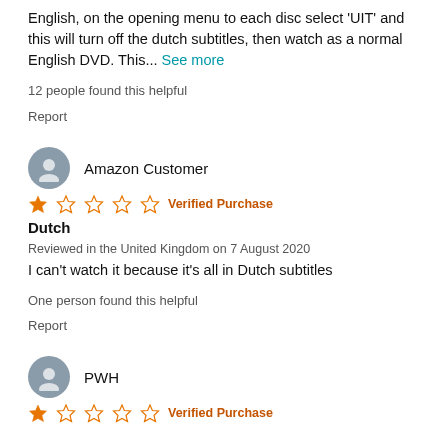English, on the opening menu to each disc select 'UIT' and this will turn off the dutch subtitles, then watch as a normal English DVD. This... See more
12 people found this helpful
Report
Amazon Customer
1 star - Verified Purchase
Dutch
Reviewed in the United Kingdom on 7 August 2020
I can't watch it because it's all in Dutch subtitles
One person found this helpful
Report
PWH
1 star - Verified Purchase